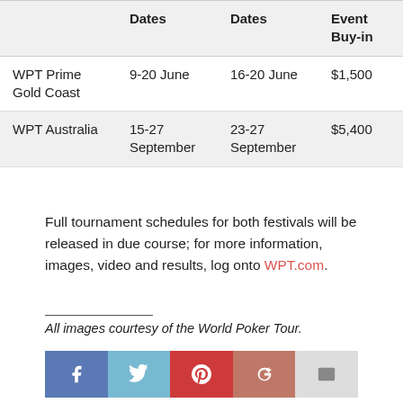|  | Dates | Dates | Event Buy-in |
| --- | --- | --- | --- |
| WPT Prime Gold Coast | 9-20 June | 16-20 June | $1,500 |
| WPT Australia | 15-27 September | 23-27 September | $5,400 |
Full tournament schedules for both festivals will be released in due course; for more information, images, video and results, log onto WPT.com.
All images courtesy of the World Poker Tour.
[Figure (infographic): Social media sharing buttons: Facebook, Twitter, Pinterest, Google+, Email]